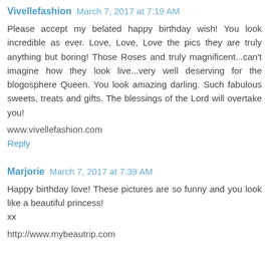Vivellefashion March 7, 2017 at 7:19 AM
Please accept my belated happy birthday wish! You look incredible as ever. Love, Love, Love the pics they are truly anything but boring! Those Roses and truly magnificent...can't imagine how they look live...very well deserving for the blogosphere Queen. You look amazing darling. Such fabulous sweets, treats and gifts. The blessings of the Lord will overtake you!
www.vivellefashion.com
Reply
Marjorie March 7, 2017 at 7:39 AM
Happy birthday love! These pictures are so funny and you look like a beautiful princess!
xx
http://www.mybeautrip.com